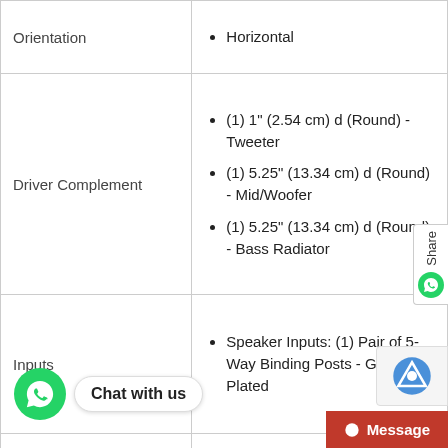| Attribute | Value |
| --- | --- |
| Orientation | Horizontal |
| Driver Complement | (1) 1" (2.54 cm) d (Round) - Tweeter
(1) 5.25" (13.34 cm) d (Round) - Mid/Woofer
(1) 5.25" (13.34 cm) d (Round) - Bass Radiator |
| Inputs | Speaker Inputs: (1) Pair of 5-Way Binding Posts - Gold-Plated |
| Audio Quality | Total Frequency Response: 47 Hz → 30 Hz
Nominal Impedance: ohms |